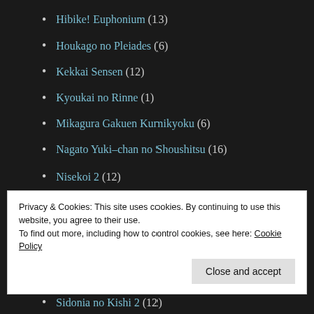Hibike! Euphonium (13)
Houkago no Pleiades (6)
Kekkai Sensen (12)
Kyoukai no Rinne (1)
Mikagura Gakuen Kumikyoku (6)
Nagato Yuki-chan no Shoushitsu (16)
Nisekoi 2 (12)
Ore Monogatari!! (24)
Oregairu 2 (14)
Owari no Seraph (12)
Plastic Memories (3)
Privacy & Cookies: This site uses cookies. By continuing to use this website, you agree to their use.
To find out more, including how to control cookies, see here: Cookie Policy
Sidonia no Kishi 2 (12)